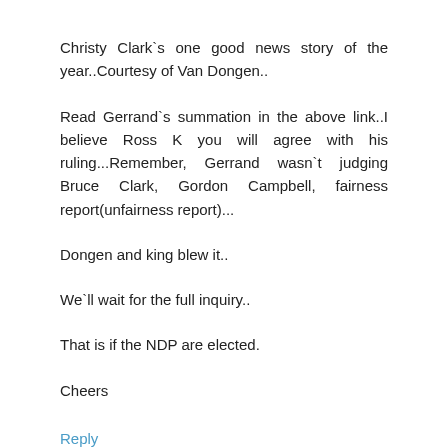Christy Clark`s one good news story of the year..Courtesy of Van Dongen..
Read Gerrand`s summation in the above link..I believe Ross K you will agree with his ruling...Remember, Gerrand wasn`t judging Bruce Clark, Gordon Campbell, fairness report(unfairness report)...
Dongen and king blew it..
We`ll wait for the full inquiry..
That is if the NDP are elected.
Cheers
Reply